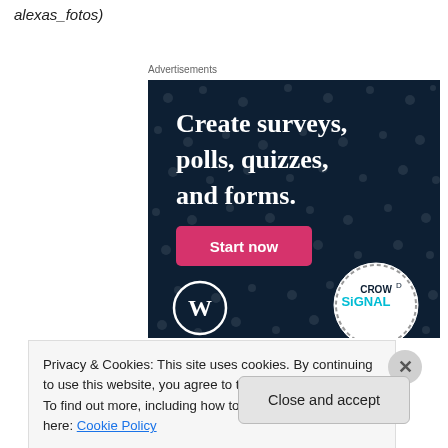alexas_fotos)
Advertisements
[Figure (screenshot): Crowdsignal advertisement on dark navy background with polka dot pattern. Text reads: Create surveys, polls, quizzes, and forms. Pink 'Start now' button. WordPress logo bottom left. Crowdsignal logo badge bottom right.]
Privacy & Cookies: This site uses cookies. By continuing to use this website, you agree to their use.
To find out more, including how to control cookies, see here: Cookie Policy
Close and accept